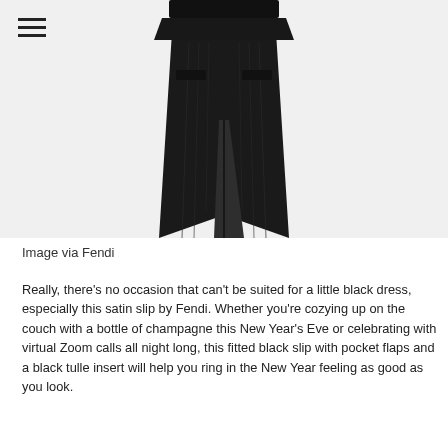[Figure (photo): A black pleated midi skirt/dress by Fendi with a front slit, displayed on a light gray background. A hamburger menu icon is visible in the top-left corner.]
Image via Fendi
Really, there’s no occasion that can’t be suited for a little black dress, especially this satin slip by Fendi. Whether you’re cozying up on the couch with a bottle of champagne this New Year’s Eve or celebrating with virtual Zoom calls all night long, this fitted black slip with pocket flaps and a black tulle insert will help you ring in the New Year feeling as good as you look.